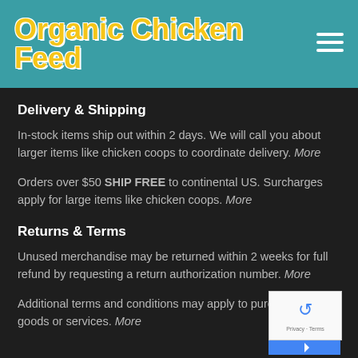Organic Chicken Feed
Delivery & Shipping
In-stock items ship out within 2 days. We will call you about larger items like chicken coops to coordinate delivery. More
Orders over $50 SHIP FREE to continental US. Surcharges apply for large items like chicken coops. More
Returns & Terms
Unused merchandise may be returned within 2 weeks for full refund by requesting a return authorization number. More
Additional terms and conditions may apply to purchases of goods or services. More